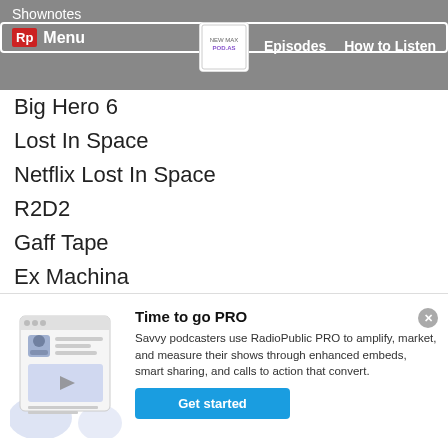Shownotes | Menu | Episodes | How to Listen
Big Hero 6
Lost In Space
Netflix Lost In Space
R2D2
Gaff Tape
Ex Machina
Bender
iRObot
Terminator Salvation
Connect, subscribe, and ...
[Figure (illustration): Promotional illustration showing a podcast webpage with a play button]
Time to go PRO
Savvy podcasters use RadioPublic PRO to amplify, market, and measure their shows through enhanced embeds, smart sharing, and calls to action that convert.
Get started